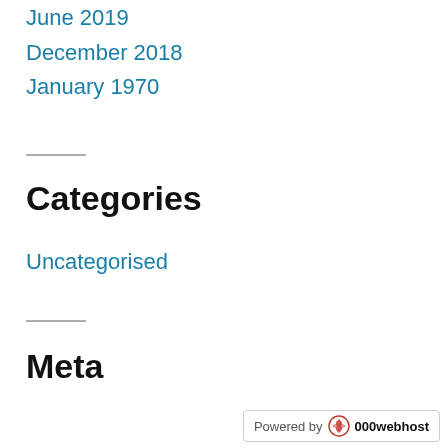June 2019
December 2018
January 1970
Categories
Uncategorised
Meta
Powered by 000webhost